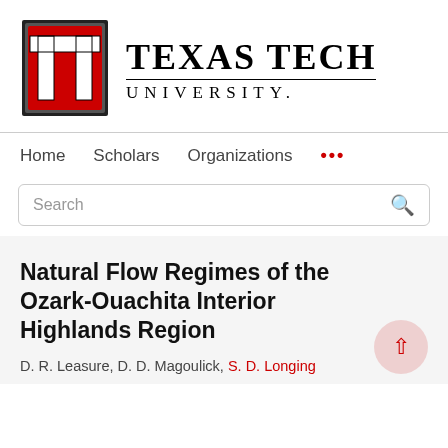[Figure (logo): Texas Tech University logo with Double T emblem in red and black, and wordmark reading TEXAS TECH UNIVERSITY]
Home   Scholars   Organizations   ...
Search
Natural Flow Regimes of the Ozark-Ouachita Interior Highlands Region
D. R. Leasure, D. D. Magoulick, S. D. Longing